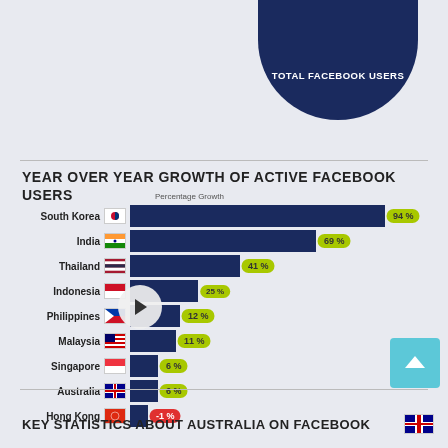[Figure (infographic): Partial dark blue circle/donut shape at top right with text TOTAL FACEBOOK USERS]
YEAR OVER YEAR GROWTH OF ACTIVE FACEBOOK USERS
[Figure (bar-chart): Year Over Year Growth of Active Facebook Users]
KEY STATISTICS ABOUT AUSTRALIA ON FACEBOOK